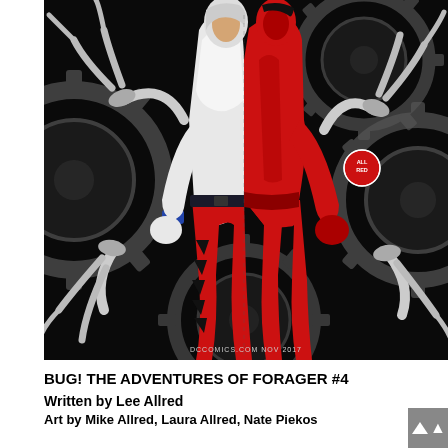[Figure (illustration): Comic book cover for Bug! The Adventures of Forager #4. Two superhero figures — one in white and one in red — are back-to-back against a black background with large grey gears/cogs. The figure on the left wears white costume with blue wristbands and black belt; the figure on the right wears a full red suit with red gloves. Both have their fists clenched. Mechanical claw-like arms extend from the sides. A small circular badge reads 'ALL RED'. Bottom center text reads 'DCCOMICS.COM  NOV 2017'.]
BUG! THE ADVENTURES OF FORAGER #4
Written by Lee Allred
Art by Mike Allred, Laura Allred, Nate Piekos